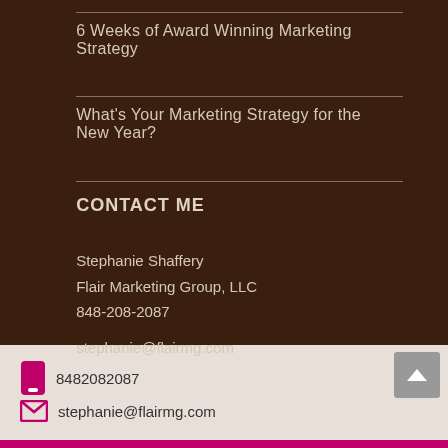6 Weeks of Award Winning Marketing Strategy
What's Your Marketing Strategy for the New Year?
CONTACT ME
Stephanie Shaffery
Flair Marketing Group, LLC
848-208-2087

stephanie@flairmg.com
8482082087 stephanie@flairmg.com